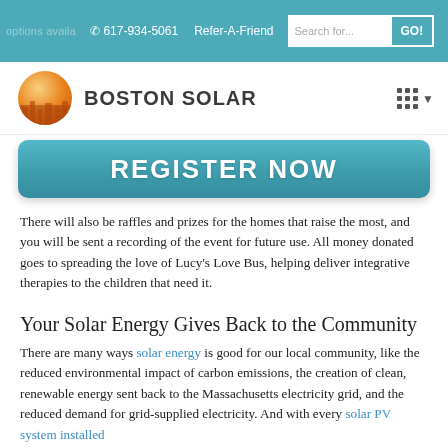options availa   617-934-5061   Refer-A-Friend   Search for...   GO!
[Figure (logo): Boston Solar logo with orange sun globe and company name]
[Figure (infographic): REGISTER NOW button in teal/blue rounded rectangle]
There will also be raffles and prizes for the homes that raise the most, and you will be sent a recording of the event for future use. All money donated goes to spreading the love of Lucy's Love Bus, helping deliver integrative therapies to the children that need it.
Your Solar Energy Gives Back to the Community
There are many ways solar energy is good for our local community, like the reduced environmental impact of carbon emissions, the creation of clean, renewable energy sent back to the Massachusetts electricity grid, and the reduced demand for grid-supplied electricity. And with every solar PV system installed